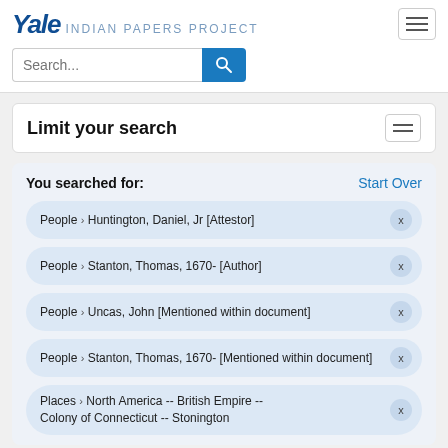Yale INDIAN PAPERS PROJECT
Search...
Limit your search
You searched for:
Start Over
People › Huntington, Daniel, Jr [Attestor]
People › Stanton, Thomas, 1670- [Author]
People › Uncas, John [Mentioned within document]
People › Stanton, Thomas, 1670- [Mentioned within document]
Places › North America -- British Empire -- Colony of Connecticut -- Stonington